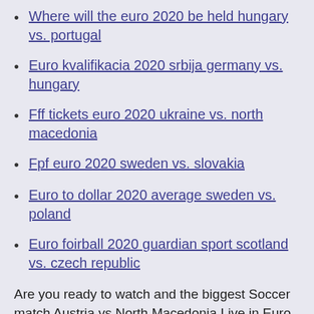Where will the euro 2020 be held hungary vs. portugal
Euro kvalifikacia 2020 srbija germany vs. hungary
Fff tickets euro 2020 ukraine vs. north macedonia
Fpf euro 2020 sweden vs. slovakia
Euro to dollar 2020 average sweden vs. poland
Euro foirball 2020 guardian sport scotland vs. czech republic
Are you ready to watch and the biggest Soccer match Austria vs North Macedonia Live in Euro 2020 Tournament at 12pm ET Sunday June 13 from Arena Națională, Bucharest. The 11 Countries 11 beautiful cities are ready to host the big soccer event Euro 2020. · Watch North Macedonia vs Austria Live Stream. Live